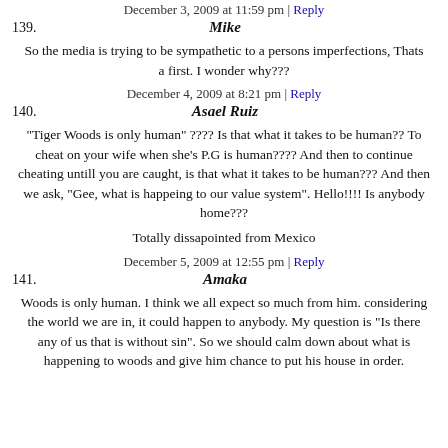December 3, 2009 at 11:59 pm | Reply
139. Mike
So the media is trying to be sympathetic to a persons imperfections, Thats a first. I wonder why???
December 4, 2009 at 8:21 pm | Reply
140. Asael Ruiz
"Tiger Woods is only human" ???? Is that what it takes to be human?? To cheat on your wife when she's P.G is human???? And then to continue cheating untill you are caught, is that what it takes to be human??? And then we ask, "Gee, what is happeing to our value system". Hello!!!! Is anybody home???
Totally dissapointed from Mexico
December 5, 2009 at 12:55 pm | Reply
141. Amaka
Woods is only human. I think we all expect so much from him. considering the world we are in, it could happen to anybody. My question is "Is there any of us that is without sin". So we should calm down about what is happening to woods and give him chance to put his house in order.